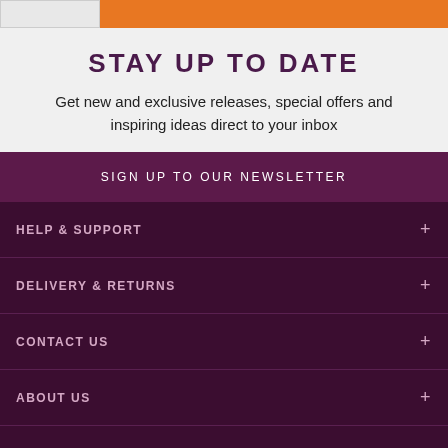STAY UP TO DATE
Get new and exclusive releases, special offers and inspiring ideas direct to your inbox
SIGN UP TO OUR NEWSLETTER
HELP & SUPPORT
DELIVERY & RETURNS
CONTACT US
ABOUT US
OUR SHOPS
SHOPPING WITH US
LEGAL INFORMATION